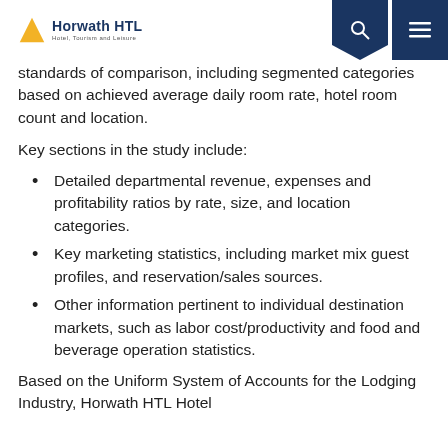Horwath HTL — Hotel, Tourism and Leisure
standards of comparison, including segmented categories based on achieved average daily room rate, hotel room count and location.
Key sections in the study include:
Detailed departmental revenue, expenses and profitability ratios by rate, size, and location categories.
Key marketing statistics, including market mix guest profiles, and reservation/sales sources.
Other information pertinent to individual destination markets, such as labor cost/productivity and food and beverage operation statistics.
Based on the Uniform System of Accounts for the Lodging Industry, Horwath HTL Hotel